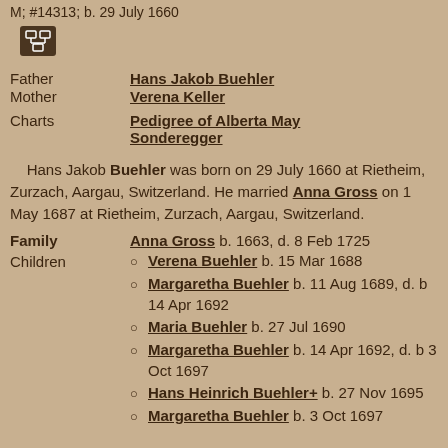M; #14313; b. 29 July 1660
[Figure (other): Small icon showing a genealogy tree/pedigree chart symbol, white on dark brown background]
Father   Hans Jakob Buehler
Mother   Verena Keller
Charts   Pedigree of Alberta May Sonderegger
Hans Jakob Buehler was born on 29 July 1660 at Rietheim, Zurzach, Aargau, Switzerland. He married Anna Gross on 1 May 1687 at Rietheim, Zurzach, Aargau, Switzerland.
Family   Anna Gross b. 1663, d. 8 Feb 1725
Verena Buehler b. 15 Mar 1688
Margaretha Buehler b. 11 Aug 1689, d. b 14 Apr 1692
Maria Buehler b. 27 Jul 1690
Margaretha Buehler b. 14 Apr 1692, d. b 3 Oct 1697
Hans Heinrich Buehler+ b. 27 Nov 1695
Margaretha Buehler b. 3 Oct 1697